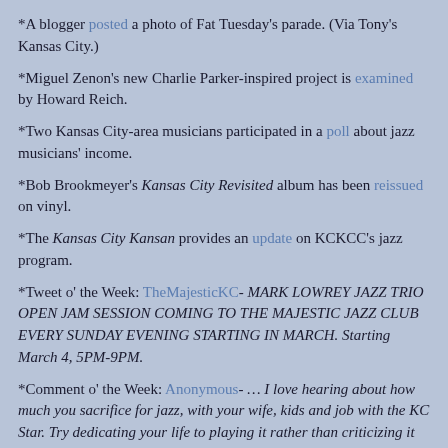*A blogger posted a photo of Fat Tuesday's parade. (Via Tony's Kansas City.)
*Miguel Zenon's new Charlie Parker-inspired project is examined by Howard Reich.
*Two Kansas City-area musicians participated in a poll about jazz musicians' income.
*Bob Brookmeyer's Kansas City Revisited album has been reissued on vinyl.
*The Kansas City Kansan provides an update on KCKCC's jazz program.
*Tweet o' the Week: TheMajesticKC- MARK LOWREY JAZZ TRIO OPEN JAM SESSION COMING TO THE MAJESTIC JAZZ CLUB EVERY SUNDAY EVENING STARTING IN MARCH. Starting March 4, 5PM-9PM.
*Comment o' the Week: Anonymous- … I love hearing about how much you sacrifice for jazz, with your wife, kids and job with the KC Star. Try dedicating your life to playing it rather than criticizing it from a proudly un-learned point of view. THEN talk to us about sacrifice. Jesus.